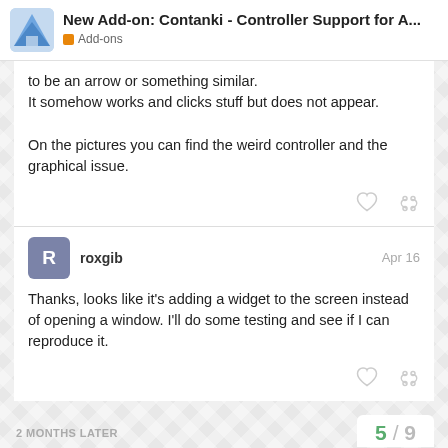New Add-on: Contanki - Controller Support for A...
to be an arrow or something similar.
It somehow works and clicks stuff but does not appear.

On the pictures you can find the weird controller and the graphical issue.
roxgib
Apr 16
Thanks, looks like it's adding a widget to the screen instead of opening a window. I'll do some testing and see if I can reproduce it.
2 MONTHS LATER
5 / 9